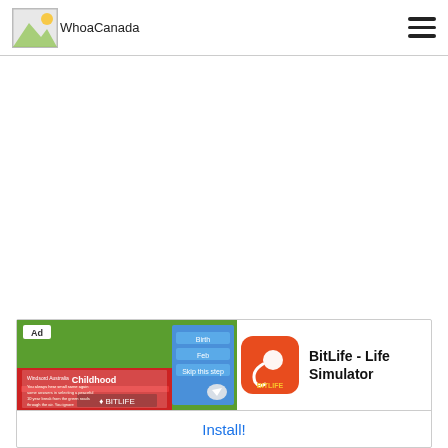WhoaCanada
[Figure (screenshot): BitLife - Life Simulator app advertisement banner with game screenshots on left, app icon in center, app name on right, and Install! button at bottom]
BitLife - Life Simulator
Install!